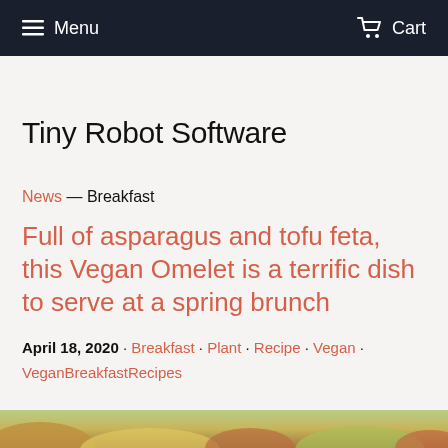Menu  Cart
Tiny Robot Software
News — Breakfast
Full of asparagus and tofu feta, this Vegan Omelet is a terrific dish to serve at a spring brunch
April 18, 2020 · Breakfast · Plant · Recipe · Vegan · VeganBreakfastRecipes
[Figure (photo): Bottom strip showing food photograph, partially visible]